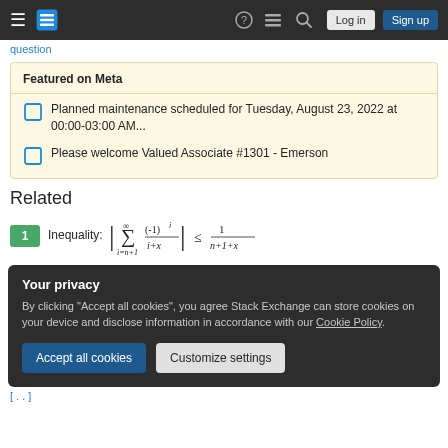Stack Exchange navigation bar with hamburger menu, logo, help, chat, search icons, Log in and Sign up buttons
question
Featured on Meta
Planned maintenance scheduled for Tuesday, August 23, 2022 at 00:00-03:00 AM...
Please welcome Valued Associate #1301 - Emerson
Related
1  Inequality: |∑_{i=n+1}^{∞} (-1)^i/(i+x)| ≤ 1/(n+1+x)
Your privacy
By clicking "Accept all cookies", you agree Stack Exchange can store cookies on your device and disclose information in accordance with our Cookie Policy.
Accept all cookies   Customize settings